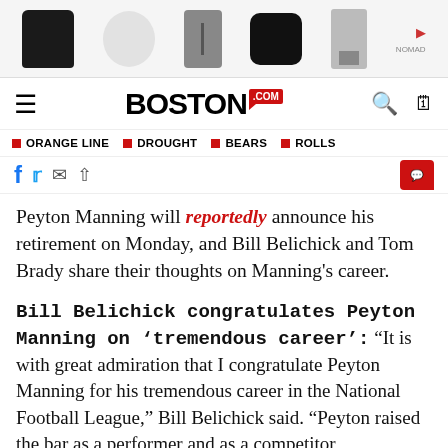[Figure (other): Advertisement banner showing accessory products (keychains, cases) with NOMAD branding]
BOSTON.COM
ORANGE LINE  DROUGHT  BEARS  ROLLS
[Figure (other): Social media sharing icons strip (partial, cut off at bottom)]
Peyton Manning will reportedly announce his retirement on Monday, and Bill Belichick and Tom Brady share their thoughts on Manning’s career.
Bill Belichick congratulates Peyton Manning on ‘tremendous career’: “It is with great admiration that I congratulate Peyton Manning for his tremendous career in the National Football League,” Bill Belichick said. “Peyton raised the bar as a performer and as a competitor